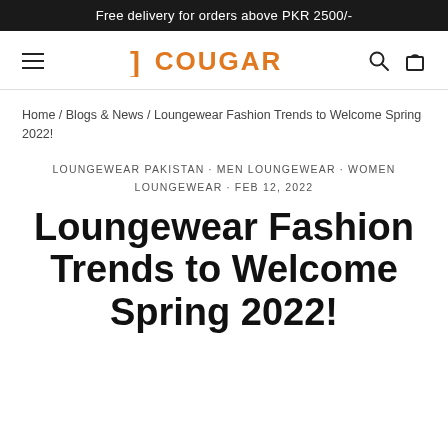Free delivery for orders above PKR 2500/-
[Figure (logo): Cougar brand logo with orange stylized bracket and bold orange 'COUGAR' text, with hamburger menu icon on left and search/cart icons on right]
Home / Blogs & News / Loungewear Fashion Trends to Welcome Spring 2022!
LOUNGEWEAR PAKISTAN · MEN LOUNGEWEAR · WOMEN LOUNGEWEAR · FEB 12, 2022
Loungewear Fashion Trends to Welcome Spring 2022!